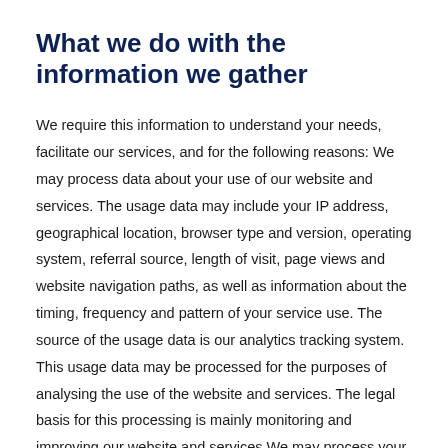What we do with the information we gather
We require this information to understand your needs, facilitate our services, and for the following reasons: We may process data about your use of our website and services. The usage data may include your IP address, geographical location, browser type and version, operating system, referral source, length of visit, page views and website navigation paths, as well as information about the timing, frequency and pattern of your service use. The source of the usage data is our analytics tracking system. This usage data may be processed for the purposes of analysing the use of the website and services. The legal basis for this processing is mainly monitoring and improving our website and services We may process your